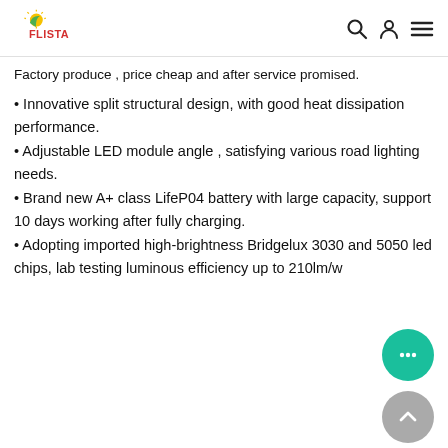FLISTA [logo]
Factory produce , price cheap and after service promised.
• Innovative split structural design, with good heat dissipation performance.
• Adjustable LED module angle , satisfying various road lighting needs.
• Brand new A+ class LifeP04 battery with large capacity, support 10 days working after fully charging.
• Adopting imported high-brightness Bridgelux 3030 and 5050 led chips, lab testing luminous efficiency up to 210lm/w
[Figure (illustration): Chat bubble button (teal circle with three dots) and scroll-to-top button (grey circle with up arrow) floating on the right side of the page]